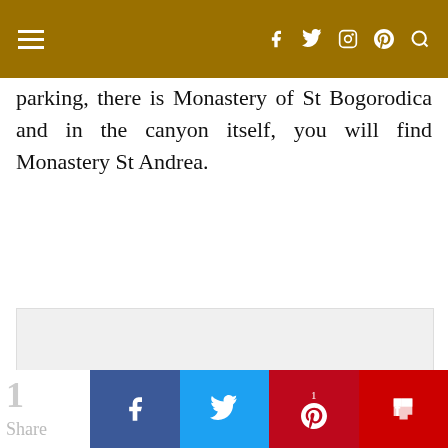Navigation bar with hamburger menu and social icons (Facebook, Twitter, Instagram, Pinterest, Search)
parking, there is Monastery of St Bogorodica and in the canyon itself, you will find Monastery St Andrea.
[Figure (other): Advertisement placeholder box with three grey dots centered inside a light grey rectangle]
1 Share | Facebook share button | Twitter share button | Pinterest share button (count: 1) | Flipboard share button